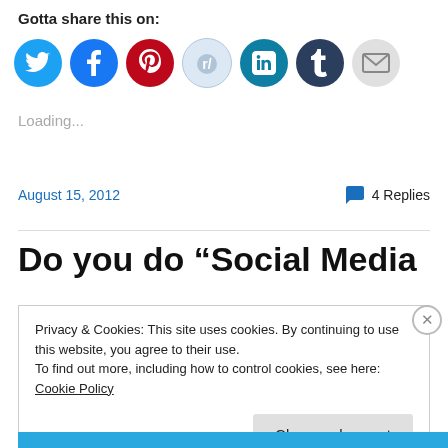Gotta share this on:
[Figure (illustration): Row of social media sharing icon circles: Twitter (cyan), Facebook (blue), Pinterest (red), Reddit (light blue/gray), LinkedIn (teal), Tumblr (dark navy), Email (light gray)]
Loading...
August 15, 2012
💬 4 Replies
Do you do “Social Media
Privacy & Cookies: This site uses cookies. By continuing to use this website, you agree to their use.
To find out more, including how to control cookies, see here: Cookie Policy